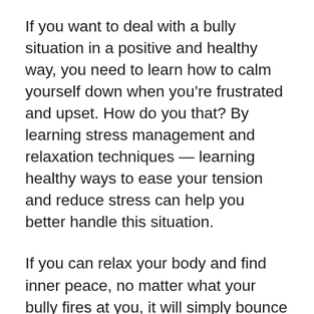If you want to deal with a bully situation in a positive and healthy way, you need to learn how to calm yourself down when you're frustrated and upset. How do you that? By learning stress management and relaxation techniques — learning healthy ways to ease your tension and reduce stress can help you better handle this situation.
If you can relax your body and find inner peace, no matter what your bully fires at you, it will simply bounce off. Common stress management and relaxation techniques include: exercising, engaging in positive self-talk, meditating, learning how